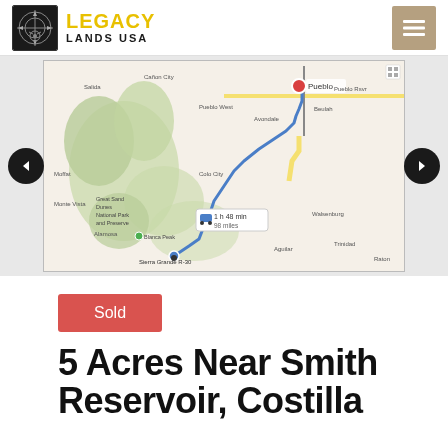LEGACY LANDS USA
[Figure (map): Google Maps route from Sierra Grande R-30 area to Pueblo, CO showing driving route with 1h 48 min travel time and distance in miles. Landmarks include Great Sand Dunes National Park and Preserve, Blanca Peak, and various Colorado towns.]
Sold
5 Acres Near Smith Reservoir, Costilla